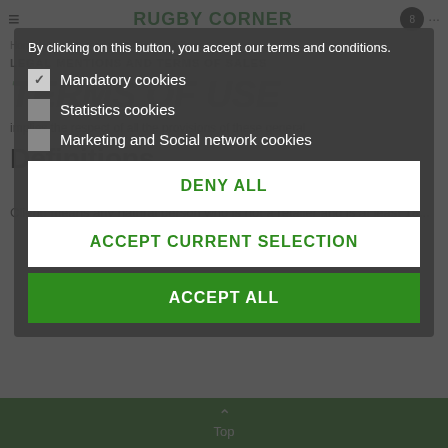RUGBY CORNER
Home > Legal Mentions and Terms of Sales
LEGAL MENTIONS AND TERMS OF SALES
TERMS OF USE
implies the respect of all the provisions of these general
Definitions
Client: means any natural person who is not a retailer and is at least 18...
By clicking on this button, you accept our terms and conditions.
Mandatory cookies (checked)
Statistics cookies (unchecked)
Marketing and Social network cookies (unchecked)
DENY ALL
ACCEPT CURRENT SELECTION
ACCEPT ALL
Top